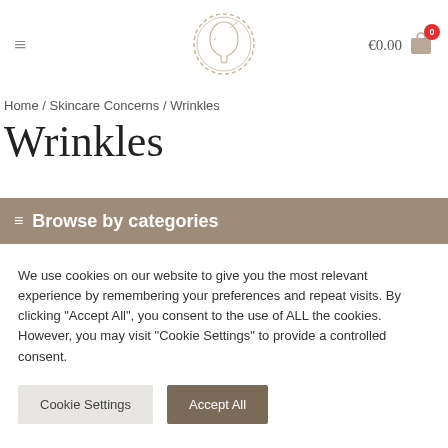≡  €0.00  [cart icon with badge 0]
Home / Skincare Concerns / Wrinkles
Wrinkles
≡ Browse by categories
We use cookies on our website to give you the most relevant experience by remembering your preferences and repeat visits. By clicking "Accept All", you consent to the use of ALL the cookies. However, you may visit "Cookie Settings" to provide a controlled consent.